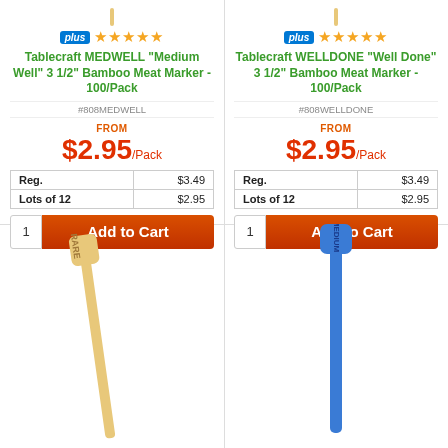[Figure (photo): Top portion of a bamboo meat marker stick visible at top of left column]
[Figure (photo): Top portion of a bamboo meat marker stick visible at top of right column]
plus ★★★★★
Tablecraft MEDWELL "Medium Well" 3 1/2" Bamboo Meat Marker - 100/Pack
#808MEDWELL
FROM $2.95/Pack
| Reg. | $3.49 |
| --- | --- |
| Lots of 12 | $2.95 |
1  Add to Cart
plus ★★★★★
Tablecraft WELLDONE "Well Done" 3 1/2" Bamboo Meat Marker - 100/Pack
#808WELLDONE
FROM $2.95/Pack
| Reg. | $3.49 |
| --- | --- |
| Lots of 12 | $2.95 |
1  Add to Cart
[Figure (photo): Bamboo meat marker stick with 'RARE' text, light tan color]
[Figure (photo): Blue plastic meat marker stick with 'MEDIUM' text]